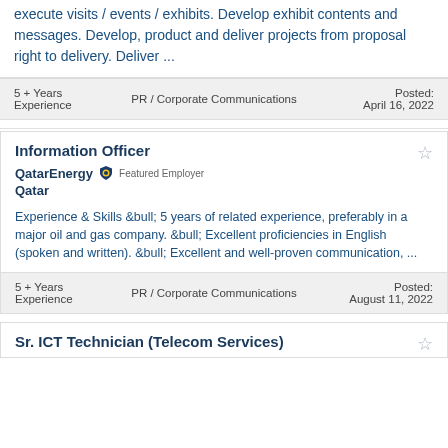execute visits / events / exhibits. Develop exhibit contents and messages. Develop, product and deliver projects from proposal right to delivery. Deliver ...
5 + Years Experience   PR / Corporate Communications   Posted: April 16, 2022
Information Officer
QatarEnergy Featured Employer Qatar
Experience & Skills &bull; 5 years of related experience, preferably in a major oil and gas company. &bull; Excellent proficiencies in English (spoken and written). &bull; Excellent and well-proven communication, ...
5 + Years Experience   PR / Corporate Communications   Posted: August 11, 2022
Sr. ICT Technician (Telecom Services)